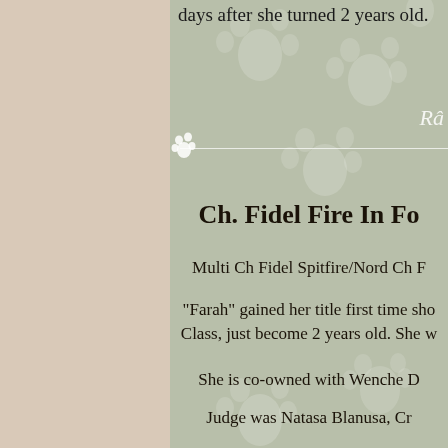days after she turned 2 years old.
Râ
Ch. Fidel Fire In Fo
Multi Ch Fidel Spitfire/Nord Ch F
"Farah" gained her title first time sho Class, just become 2 years old. She w
She is co-owned with Wenche D
Judge was Natasa Blanusa, Cr